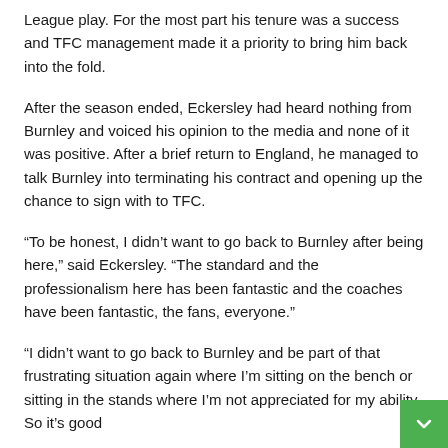League play. For the most part his tenure was a success and TFC management made it a priority to bring him back into the fold.
After the season ended, Eckersley had heard nothing from Burnley and voiced his opinion to the media and none of it was positive. After a brief return to England, he managed to talk Burnley into terminating his contract and opening up the chance to sign with to TFC.
“To be honest, I didn't want to go back to Burnley after being here,” said Eckersley. “The standard and the professionalism here has been fantastic and the coaches have been fantastic, the fans, everyone.”
“I didn't want to go back to Burnley and be part of that frustrating situation again where I'm sitting on the bench or sitting in the stands where I'm not appreciated for my ability. So it's good...